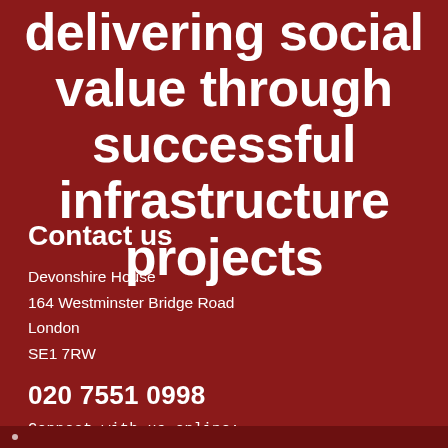delivering social value through successful infrastructure projects
Contact us
Devonshire House
164 Westminster Bridge Road
London
SE1 7RW
020 7551 0998
Connect with us online:
[Figure (illustration): Three social media icon boxes: Twitter (bird icon), LinkedIn (in icon), Instagram (camera icon), white boxes on dark red background]